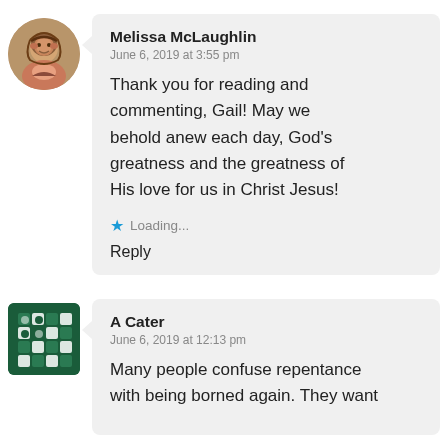[Figure (photo): Circular avatar photo of Melissa McLaughlin, a woman with dark hair, smiling]
Melissa McLaughlin
June 6, 2019 at 3:55 pm

Thank you for reading and commenting, Gail! May we behold anew each day, God's greatness and the greatness of His love for us in Christ Jesus!

★ Loading...

Reply
[Figure (logo): Square avatar with dark green background and white cross/diamond pattern logo for A Cater]
A Cater
June 6, 2019 at 12:13 pm

Many people confuse repentance with being borned again. They want